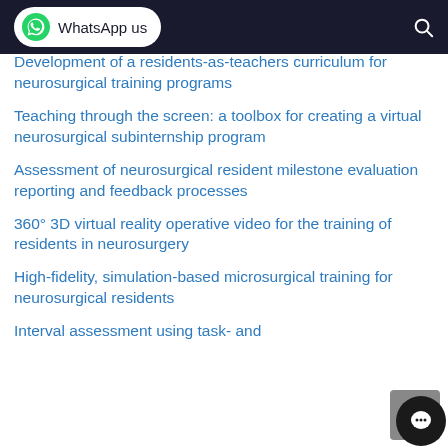WhatsApp us
Development of a residents-as-teachers curriculum for neurosurgical training programs
Teaching through the screen: a toolbox for creating a virtual neurosurgical subinternship program
Assessment of neurosurgical resident milestone evaluation reporting and feedback processes
360° 3D virtual reality operative video for the training of residents in neurosurgery
High-fidelity, simulation-based microsurgical training for neurosurgical residents
Interval assessment using task- and